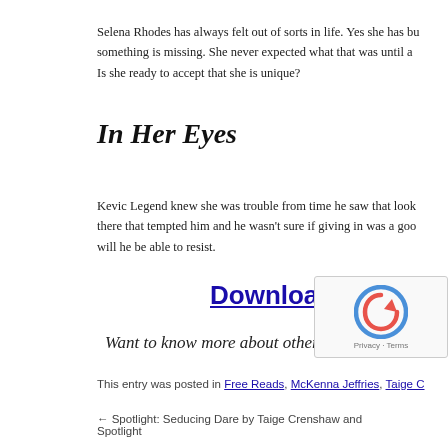Selena Rhodes has always felt out of sorts in life. Yes she has bu something is missing. She never expected what that was until a Is she ready to accept that she is unique?
In Her Eyes
Kevic Legend knew she was trouble from time he saw that look there that tempted him and he wasn't sure if giving in was a goo will he be able to resist.
Download for Free
Want to know more about other freeb
This entry was posted in Free Reads, McKenna Jeffries, Taige C
← Spotlight: Seducing Dare by Taige Crenshaw and    Spotlight